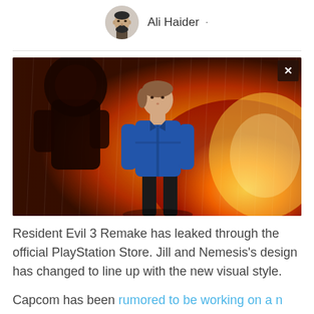[Figure (illustration): Author avatar: cartoon/illustrated portrait of a bearded man]
Ali Haider ·
[Figure (photo): Resident Evil 3 Remake promotional image showing Jill Valentine in blue jacket standing in front of a fiery red/orange background with Nemesis monster behind her. A dark close button (×) is visible in the top-right corner.]
Resident Evil 3 Remake has leaked through the official PlayStation Store. Jill and Nemesis's design has changed to line up with the new visual style.
Capcom has been rumored to be working on a n…